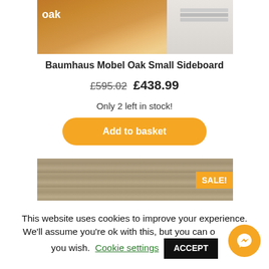[Figure (photo): Oak furniture product photo showing wooden surface with label 'oak' in white text]
Baumhaus Mobel Oak Small Sideboard
£595.02  £438.99
Only 2 left in stock!
Add to basket
[Figure (photo): Product photo showing stone wall background with wooden frame and SALE! badge in orange]
This website uses cookies to improve your experience. We'll assume you're ok with this, but you can opt-out if you wish.
Cookie settings
ACCEPT